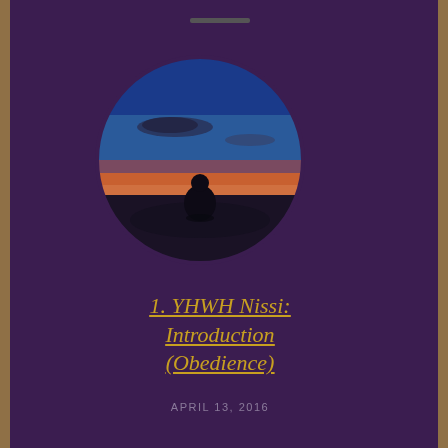[Figure (photo): Circular-cropped photo of a person sitting silhouetted against a dramatic sunset sky with blue and orange hues, viewed from behind on a flat surface.]
1. YHWH Nissi: Introduction (Obedience)
APRIL 13, 2016